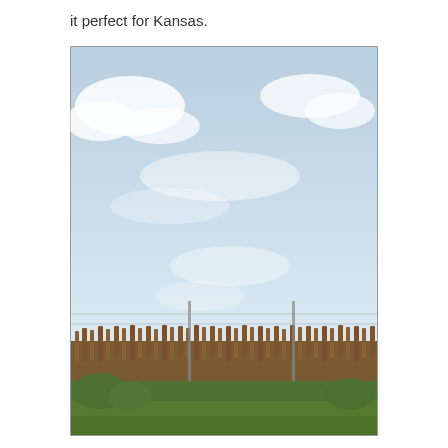it perfect for Kansas.
[Figure (photo): Outdoor photograph of a Kansas farm field showing a flat landscape with crops (sorghum/grain) along a fence line in the middle distance, green grass in the foreground, and a wide open sky with scattered clouds filling the upper portion of the image.]